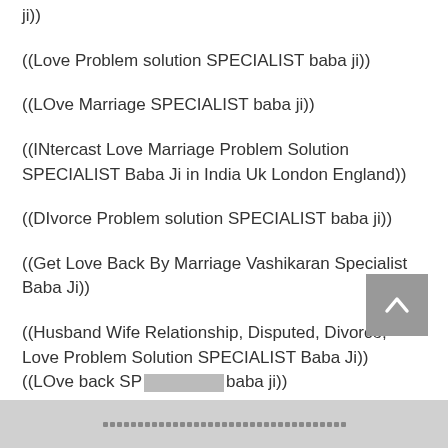((Love Problem solution SPECIALIST baba ji))
((LOve Marriage SPECIALIST baba ji))
((INtercast Love Marriage Problem Solution SPECIALIST Baba Ji in India Uk London England))
((DIvorce Problem solution SPECIALIST baba ji))
((Get Love Back By Marriage Vashikaran Specialist Baba Ji))
((Husband Wife Relationship, Disputed, Divorce, Love Problem Solution SPECIALIST Baba Ji))
((LOve back SPE... baba ji))